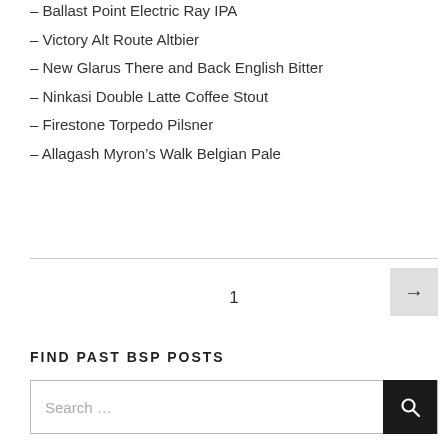– Ballast Point Electric Ray IPA
– Victory Alt Route Altbier
– New Glarus There and Back English Bitter
– Ninkasi Double Latte Coffee Stout
– Firestone Torpedo Pilsner
– Allagash Myron's Walk Belgian Pale
1
→
FIND PAST BSP POSTS
Search …